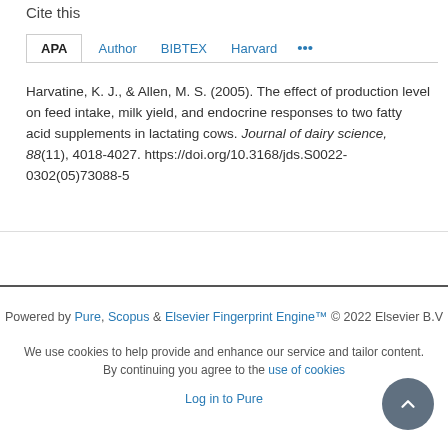Cite this
APA  Author  BIBTEX  Harvard  ...
Harvatine, K. J., & Allen, M. S. (2005). The effect of production level on feed intake, milk yield, and endocrine responses to two fatty acid supplements in lactating cows. Journal of dairy science, 88(11), 4018-4027. https://doi.org/10.3168/jds.S0022-0302(05)73088-5
Powered by Pure, Scopus & Elsevier Fingerprint Engine™ © 2022 Elsevier B.V
We use cookies to help provide and enhance our service and tailor content. By continuing you agree to the use of cookies
Log in to Pure